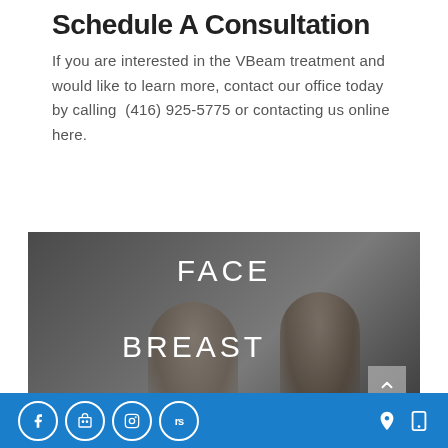Schedule A Consultation
If you are interested in the VBeam treatment and would like to learn more, contact our office today by calling  (416) 925-5775 or contacting us online here.
[Figure (photo): Dark overlay image showing two faces (male and female) with white text overlaid reading FACE and BREAST, plus a scroll-up button in the bottom right corner.]
Social media icons (Facebook, Google Store, Instagram, RS) on the left; location and mobile icons on the right, on blue background.